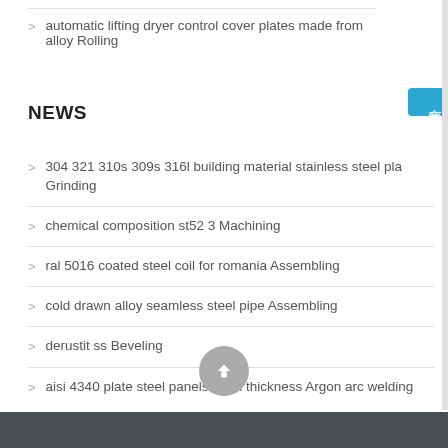automatic lifting dryer control cover plates made from alloy Rolling
NEWS
304 321 310s 309s 316l building material stainless steel pla Grinding
chemical composition st52 3 Machining
ral 5016 coated steel coil for romania Assembling
cold drawn alloy seamless steel pipe Assembling
derustit ss Beveling
aisi 4340 plate steel panels 6mm thickness Argon arc welding